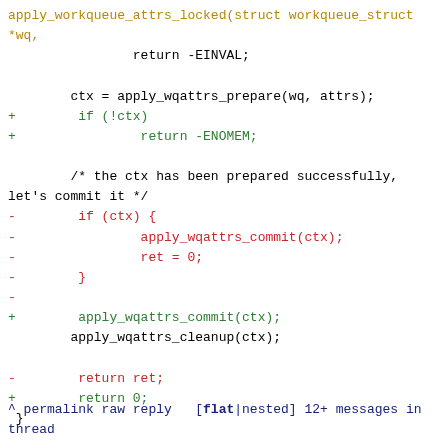Code diff showing apply_workqueue_attrs_locked function changes including return -EINVAL, apply_wqattrs_prepare, if (!ctx) return -ENOMEM, commit/cleanup calls, and return 0 changes.
^ permalink raw reply   [flat|nested] 12+ messages in thread